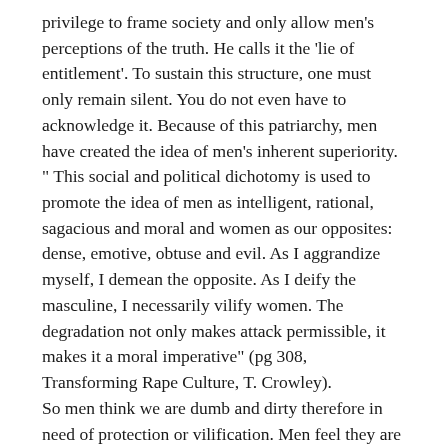privilege to frame society and only allow men's perceptions of the truth. He calls it the 'lie of entitlement'. To sustain this structure, one must only remain silent. You do not even have to acknowledge it. Because of this patriarchy, men have created the idea of men's inherent superiority. " This social and political dichotomy is used to promote the idea of men as intelligent, rational, sagacious and moral and women as our opposites: dense, emotive, obtuse and evil. As I aggrandize myself, I demean the opposite. As I deify the masculine, I necessarily vilify women. The degradation not only makes attack permissible, it makes it a moral imperative" (pg 308, Transforming Rape Culture, T. Crowley).
So men think we are dumb and dirty therefore in need of protection or vilification. Men feel they are superior to us, thus should be in charge of everything. Men need to prove they are in charge of everything, thus seek power. What is it in men that require this constant need, this